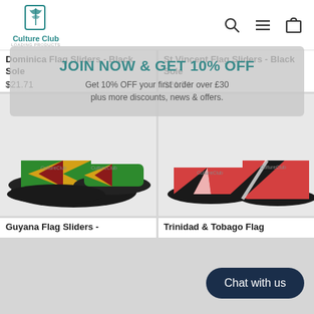[Figure (logo): Culture Club logo with teal palm leaf icon and brand name]
Dominica Flag Sliders - Black Sole
$21.71
St Vincent Flag Sliders - Black Sole
$21.71
JOIN NOW & GET 10% OFF
Get 10% OFF your first order over £30 plus more discounts, news & offers.
[Figure (photo): Guyana Flag Sliders - green, yellow, red, black flag design on black sole sandals]
[Figure (photo): Trinidad & Tobago Flag Sliders - red, black, white flag design on black sole sandals]
Guyana Flag Sliders -
Trinidad & Tobago Flag